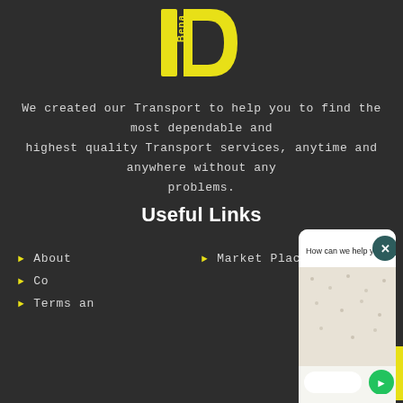[Figure (logo): BenD logo in yellow on dark background — stylized text 'Bena' rotated with a yellow D shape]
We created our Transport to help you to find the most dependable and highest quality Transport services, anytime and anywhere without any problems.
Useful Links
About
Contact
Terms and ...
Market Place
[Figure (screenshot): WhatsApp-style chat widget overlay showing 'How can we help you?' header with close button, patterned chat background, empty input field, and green send button]